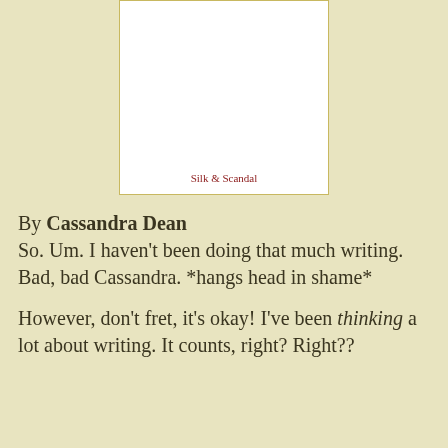[Figure (illustration): Book cover image showing white cover with title 'Silk & Scandal' in red text at bottom center, framed by a gold border on a cream/tan background]
By Cassandra Dean
So. Um. I haven't been doing that much writing. Bad, bad Cassandra. *hangs head in shame*
However, don't fret, it's okay! I've been thinking a lot about writing. It counts, right? Right??